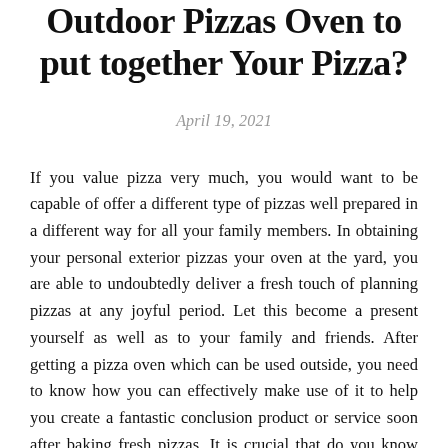Outdoor Pizzas Oven to put together Your Pizza?
April 19, 2021
If you value pizza very much, you would want to be capable of offer a different type of pizzas well prepared in a different way for all your family members. In obtaining your personal exterior pizzas your oven at the yard, you are able to undoubtedly deliver a fresh touch of planning pizzas at any joyful period. Let this become a present yourself as well as to your family and friends. After getting a pizza oven which can be used outside, you need to know how you can effectively make use of it to help you create a fantastic conclusion product or service soon after baking fresh pizzas. It is crucial that do you know what your alternatives are in relation to employing this kind of pizzas your oven. Because there are a large amount of versions available to choose from, it may be much more